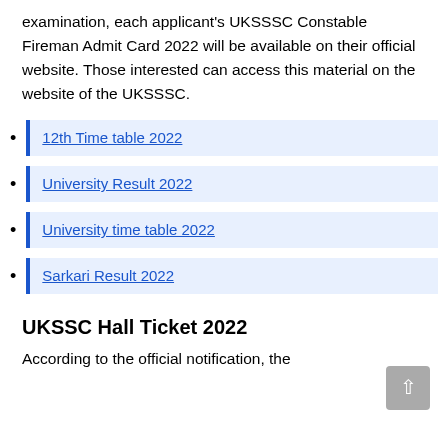examination, each applicant's UKSSSC Constable Fireman Admit Card 2022 will be available on their official website. Those interested can access this material on the website of the UKSSSC.
12th Time table 2022
University Result 2022
University time table 2022
Sarkari Result 2022
UKSSC Hall Ticket 2022
According to the official notification, the